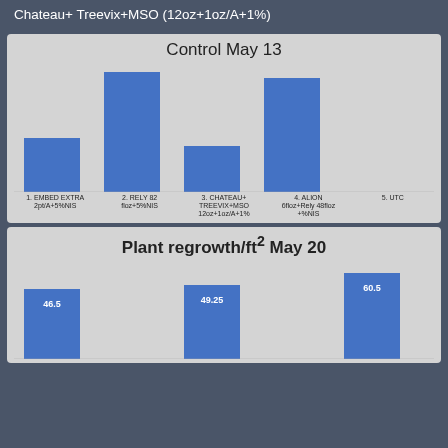Chateau+ Treevix+MSO (12oz+1oz/A+1%)
[Figure (bar-chart): Control May 13]
[Figure (bar-chart): Plant regrowth/ft² May 20]